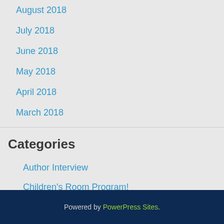August 2018
July 2018
June 2018
May 2018
April 2018
March 2018
Categories
Author Interview
Children's Room Program!
Uncategorized
Powered by PowerPress Sites.